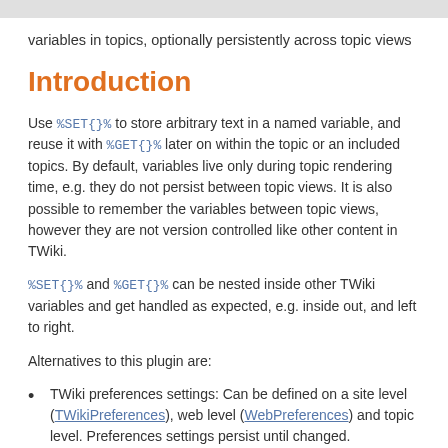variables in topics, optionally persistently across topic views
Introduction
Use %SET{}% to store arbitrary text in a named variable, and reuse it with %GET{}% later on within the topic or an included topics. By default, variables live only during topic rendering time, e.g. they do not persist between topic views. It is also possible to remember the variables between topic views, however they are not version controlled like other content in TWiki.
%SET{}% and %GET{}% can be nested inside other TWiki variables and get handled as expected, e.g. inside out, and left to right.
Alternatives to this plugin are:
TWiki preferences settings: Can be defined on a site level (TWikiPreferences), web level (WebPreferences) and topic level. Preferences settings persist until changed.
SpreadSheetPlugin variables: Variables can be set with %CALC{$SET(some_name, anything)}% and retrieved with $GET(). These variables persist during page rendering